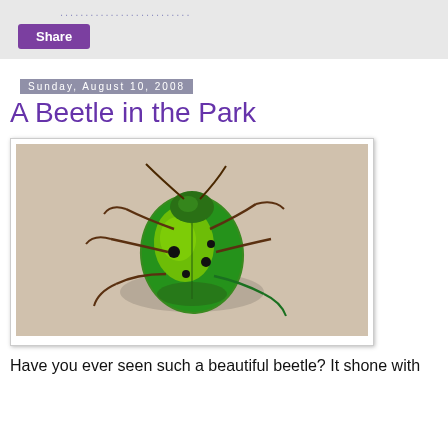..........................
Share
Sunday, August 10, 2008
A Beetle in the Park
[Figure (photo): A shiny green and yellow beetle with black spots photographed on a light beige surface, viewed from above, showing six legs and antennae.]
Have you ever seen such a beautiful beetle? It shone with